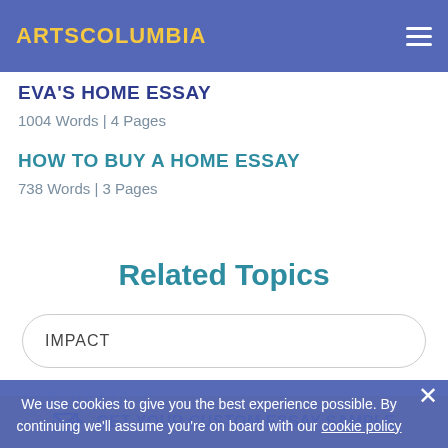ARTSCOLUMBIA
EVA'S HOME ESSAY
1004 Words | 4 Pages
HOW TO BUY A HOME ESSAY
738 Words | 3 Pages
Related Topics
IMPACT
PERSPECTIVE
We use cookies to give you the best experience possible. By continuing we'll assume you're on board with our cookie policy
OPPORTUNITY
GET YOUR CUSTOM ESSAY SAMPLE